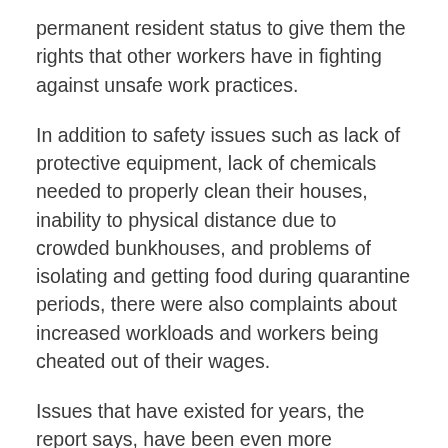permanent resident status to give them the rights that other workers have in fighting against unsafe work practices.
In addition to safety issues such as lack of protective equipment, lack of chemicals needed to properly clean their houses, inability to physical distance due to crowded bunkhouses, and problems of isolating and getting food during quarantine periods, there were also complaints about increased workloads and workers being cheated out of their wages.
Issues that have existed for years, the report says, have been even more problematic during the pandemic, leading to sickness, and for two men, death.
The report calls for immediate action to address